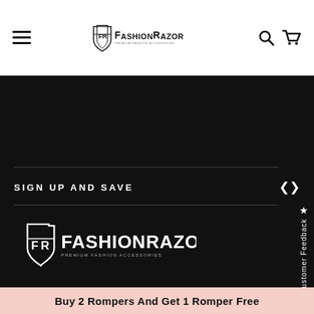FashionRazor — Premium Fashion Accessories (header navigation)
SIGN UP AND SAVE
[Figure (logo): FashionRazor logo with shield/razor icon and text 'PREMIUM FASHION ACCESSORIES']
© 2022 FashionRazor All rights reserved.
Buy 2 Rompers And Get 1 Romper Free